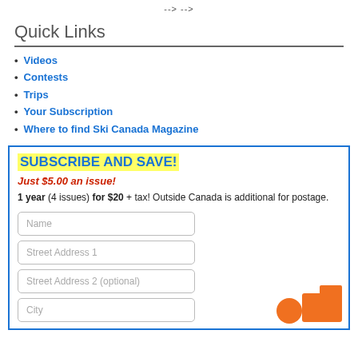--> -->
Quick Links
Videos
Contests
Trips
Your Subscription
Where to find Ski Canada Magazine
SUBSCRIBE AND SAVE!
Just $5.00 an issue!
1 year (4 issues) for $20 + tax! Outside Canada is additional for postage.
Name
Street Address 1
Street Address 2 (optional)
City
[Figure (illustration): Orange decorative graphic with circle and rectangular shapes in bottom right corner]